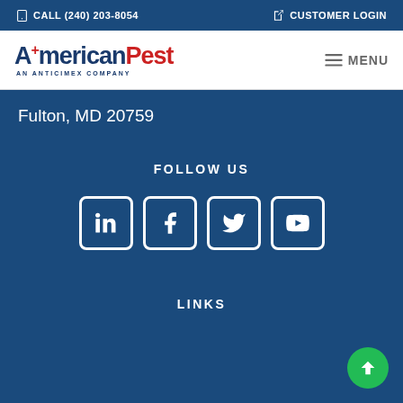CALL (240) 203-8054 | CUSTOMER LOGIN
[Figure (logo): AmericanPest - An Anticimex Company logo with MENU navigation]
Fulton, MD 20759
FOLLOW US
[Figure (infographic): Social media icons: LinkedIn, Facebook, Twitter, YouTube]
LINKS